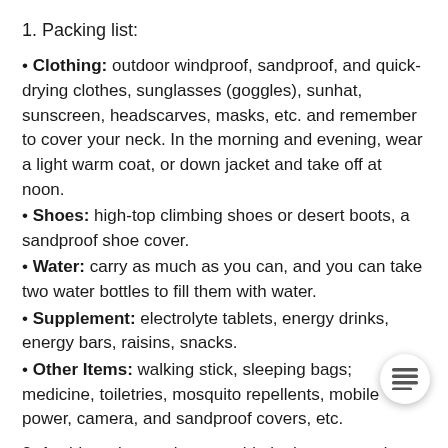1. Packing list:
• Clothing: outdoor windproof, sandproof, and quick-drying clothes, sunglasses (goggles), sunhat, sunscreen, headscarves, masks, etc. and remember to cover your neck. In the morning and evening, wear a light warm coat, or down jacket and take off at noon.
• Shoes: high-top climbing shoes or desert boots, a sandproof shoe cover.
• Water: carry as much as you can, and you can take two water bottles to fill them with water.
• Supplement: electrolyte tablets, energy drinks, energy bars, raisins, snacks.
• Other Items: walking stick, sleeping bags; medicine, toiletries, mosquito repellents, mobile power, camera, and sandproof covers, etc.
2. Avoid staying too long outside in the noon and early afternoon, especially in summer, due to the high temperature in the desert.
3. Camping in the desert is a cool and wonderful experience